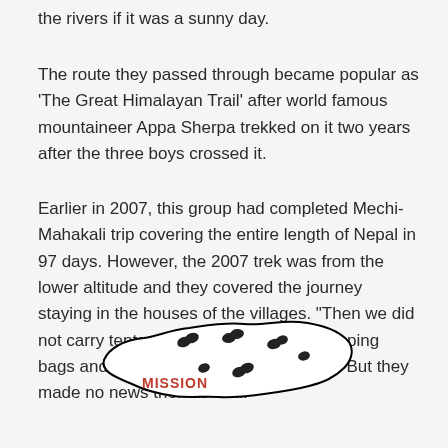the rivers if it was a sunny day.
The route they passed through became popular as 'The Great Himalayan Trail' after world famous mountaineer Appa Sherpa trekked on it two years after the three boys crossed it.
Earlier in 2007, this group had completed Mechi-Mahakali trip covering the entire length of Nepal in 97 days. However, the 2007 trek was from the lower altitude and they covered the journey staying in the houses of the villages. "Then we did not carry tents and gas, we only had sleeping bags and mattresses with us," they said. But they made no news then as well.
[Figure (map): Outline map of Nepal with footprint marks and the word MISSION in red text at the lower-left portion of the map shape.]